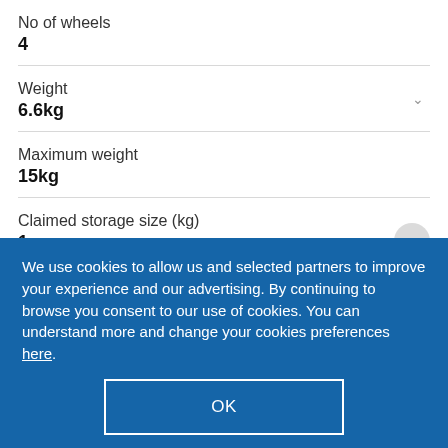No of wheels
4
Weight
6.6kg
Maximum weight
15kg
Claimed storage size (kg)
1
We use cookies to allow us and selected partners to improve your experience and our advertising. By continuing to browse you consent to our use of cookies. You can understand more and change your cookies preferences here.
OK